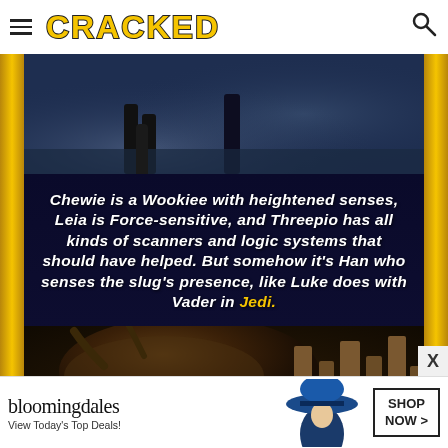CRACKED
[Figure (photo): Dark misty scene with silhouetted figures, Star Wars themed]
Chewie is a Wookiee with heightened senses, Leia is Force-sensitive, and Threepio has all kinds of scanners and logic systems that should have helped. But somehow it's Han who senses the slug's presence, like Luke does with Vader in Jedi.
[Figure (photo): Sarlacc creature pit from Star Wars, sepia-toned image showing large creature mass with sandy rock formations]
[Figure (other): Bloomingdale's advertisement: View Today's Top Deals! with woman in blue hat, Shop Now button]